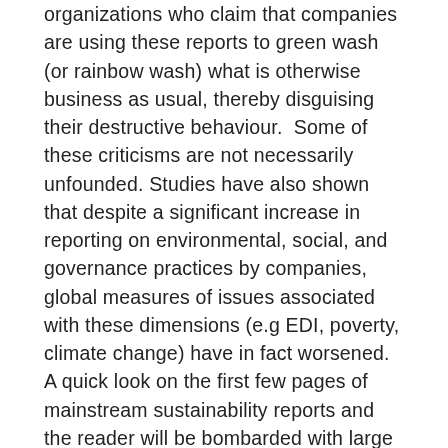organizations who claim that companies are using these reports to green wash (or rainbow wash) what is otherwise business as usual, thereby disguising their destructive behaviour.  Some of these criticisms are not necessarily unfounded. Studies have also shown that despite a significant increase in reporting on environmental, social, and governance practices by companies, global measures of issues associated with these dimensions (e.g EDI, poverty, climate change) have in fact worsened. A quick look on the first few pages of mainstream sustainability reports and the reader will be bombarded with large high quality images of the values of...